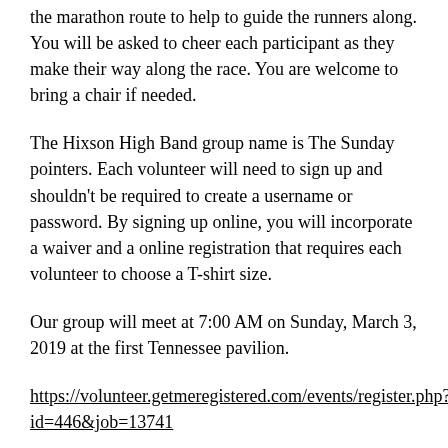the marathon route to help to guide the runners along. You will be asked to cheer each participant as they make their way along the race. You are welcome to bring a chair if needed.
The Hixson High Band group name is The Sunday pointers. Each volunteer will need to sign up and shouldn't be required to create a username or password. By signing up online, you will incorporate a waiver and a online registration that requires each volunteer to choose a T-shirt size.
Our group will meet at 7:00 AM on Sunday, March 3, 2019 at the first Tennessee pavilion.
https://volunteer.getmeregistered.com/events/register.php?id=446&job=13741